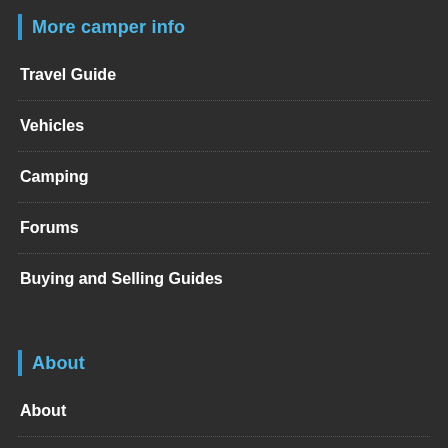More camper info
Travel Guide
Vehicles
Camping
Forums
Buying and Selling Guides
About
About